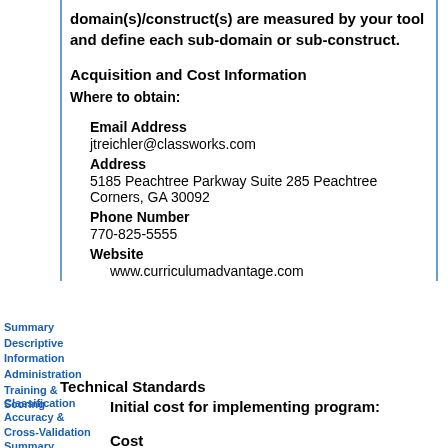domain(s)/construct(s) are measured by your tool and define each sub-domain or sub-construct.
Acquisition and Cost Information
Where to obtain:
Email Address
jtreichler@classworks.com
Address
5185 Peachtree Parkway Suite 285 Peachtree Corners, GA 30092
Phone Number
770-825-5555
Website
www.curriculumadvantage.com
Technical Standards
Initial cost for implementing program:
Cost
Summary
Descriptive Information
Administration
Training & Scoring
Classification Accuracy & Cross-Validation Summary